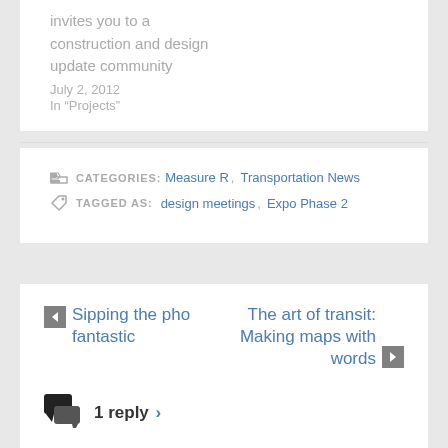invites you to a construction and design update community
July 2, 2012
In “Projects”
CATEGORIES: Measure R, Transportation News
TAGGED AS: design meetings, Expo Phase 2
← Sipping the pho fantastic
The art of transit: Making maps with words →
1 reply ›